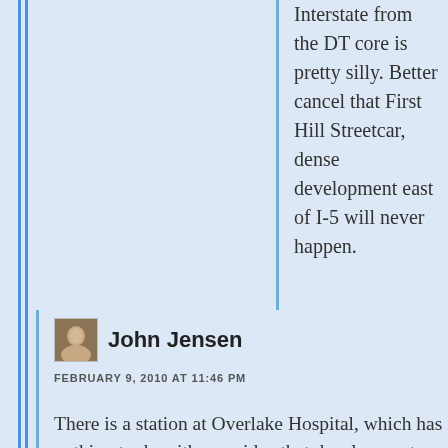Interstate from the DT core is pretty silly. Better cancel that First Hill Streetcar, dense development east of I-5 will never happen.
[Figure (photo): Small avatar photo of commenter John Jensen]
John Jensen
FEBRUARY 9, 2010 AT 11:46 PM
There is a station at Overlake Hospital, which has nothing to do with your idea that development will jump across 405. Of course, the C14E doesn't serve the current downtown nor auto-row well. Basically, you seem to think we should poorly serve downtown Bellevue